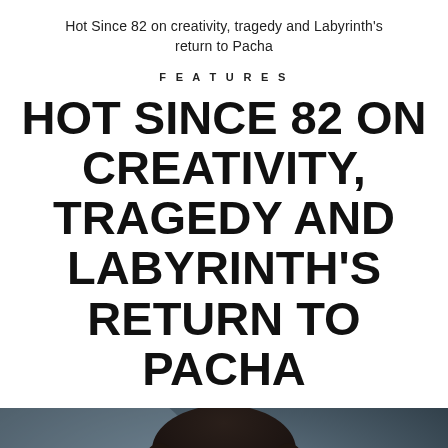Hot Since 82 on creativity, tragedy and Labyrinth's return to Pacha
FEATURES
HOT SINCE 82 ON CREATIVITY, TRAGEDY AND LABYRINTH'S RETURN TO PACHA
[Figure (photo): Portrait photo of a man with dark hair and beard, wearing a white shirt, looking upward against a dark blue-grey background. Only head and upper shoulders visible, cropped at bottom.]